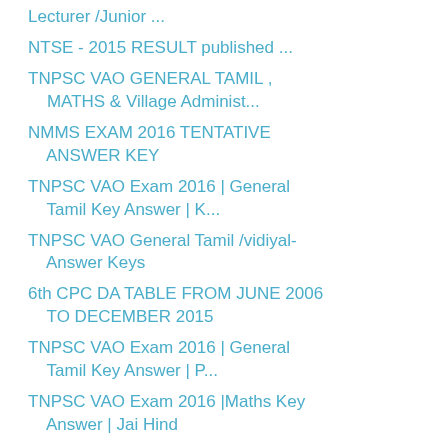Lecturer /Junior ...
NTSE - 2015 RESULT published ...
TNPSC VAO GENERAL TAMIL , MATHS & Village Administ...
NMMS EXAM 2016 TENTATIVE ANSWER KEY
TNPSC VAO Exam 2016 | General Tamil Key Answer | K...
TNPSC VAO General Tamil /vidiyal-Answer Keys
6th CPC DA TABLE FROM JUNE 2006 TO DECEMBER 2015
TNPSC VAO Exam 2016 | General Tamil Key Answer | P...
TNPSC VAO Exam 2016 |Maths Key Answer | Jai Hind
TNPSC VAO Exam 2016 | Maths Key Answer | Sri Malar...
EB TECH ASST 1475 post- NOTIFICATION (Qualificatio...